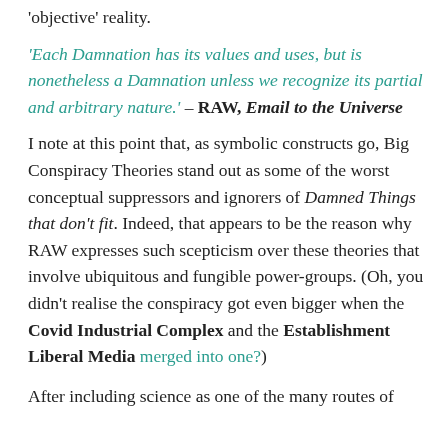'objective' reality.
'Each Damnation has its values and uses, but is nonetheless a Damnation unless we recognize its partial and arbitrary nature.' – RAW, Email to the Universe
I note at this point that, as symbolic constructs go, Big Conspiracy Theories stand out as some of the worst conceptual suppressors and ignorers of Damned Things that don't fit. Indeed, that appears to be the reason why RAW expresses such scepticism over these theories that involve ubiquitous and fungible power-groups. (Oh, you didn't realise the conspiracy got even bigger when the Covid Industrial Complex and the Establishment Liberal Media merged into one?)
After including science as one of the many routes of